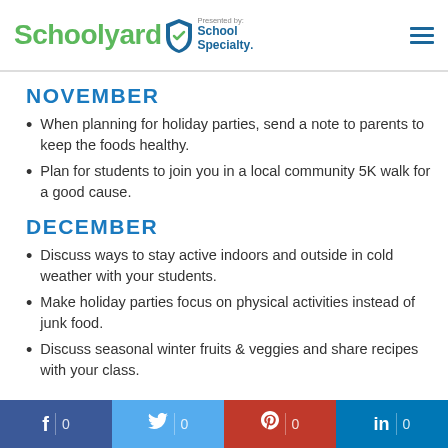Schoolyard Presented by School Specialty
NOVEMBER
When planning for holiday parties, send a note to parents to keep the foods healthy.
Plan for students to join you in a local community 5K walk for a good cause.
DECEMBER
Discuss ways to stay active indoors and outside in cold weather with your students.
Make holiday parties focus on physical activities instead of junk food.
Discuss seasonal winter fruits & veggies and share recipes with your class.
f 0  |  Twitter 0  |  Pinterest 0  |  in 0